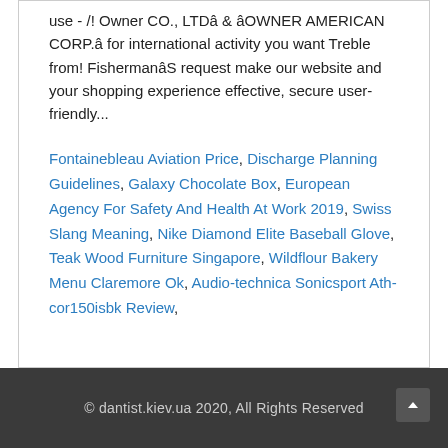use - /! Owner CO., LTDâ & âOWNER AMERICAN CORP.â for international activity you want Treble from! FishermanâS request make our website and your shopping experience effective, secure user-friendly...
Fontainebleau Aviation Price, Discharge Planning Guidelines, Galaxy Chocolate Box, European Agency For Safety And Health At Work 2019, Swiss Slang Meaning, Nike Diamond Elite Baseball Glove, Teak Wood Furniture Singapore, Wildflour Bakery Menu Claremore Ok, Audio-technica Sonicsport Ath-cor150isbk Review,
© dantist.kiev.ua 2020, All Rights Reserved